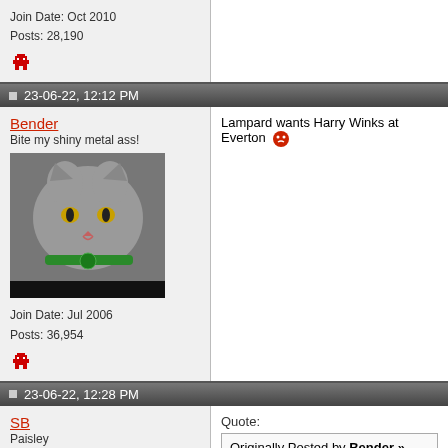Join Date: Oct 2010
Posts: 28,190
[Figure (illustration): Pixel art avatar icon (red character)]
23-06-22, 12:12 PM
Bender
Bite my shiny metal ass!
[Figure (photo): Photo of a grey cat wearing a green collar]
Join Date: Jul 2006
Posts: 36,954
[Figure (illustration): Pixel art avatar icon (red character)]
Lampard wants Harry Winks at Everton 😠
23-06-22, 12:28 PM
SB
Paisley
Quote:
Originally Posted by Bender »
Lampard wants Harry Winks at Everto...